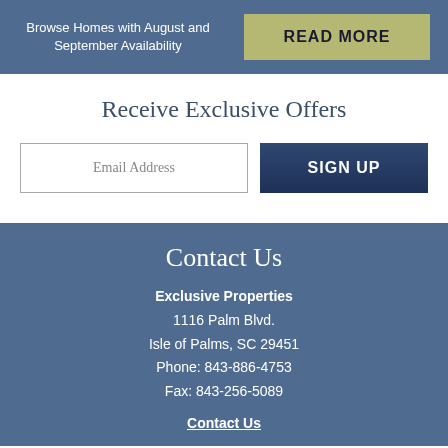Browse Homes with August and September Availability
READ MORE
Receive Exclusive Offers
Email Address
SIGN UP
Contact Us
Exclusive Properties
1116 Palm Blvd.
Isle of Palms, SC 29451
Phone: 843-886-4753
Fax: 843-256-5089
Contact Us